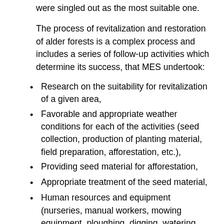were singled out as the most suitable one.
The process of revitalization and restoration of alder forests is a complex process and includes a series of follow-up activities which determine its success, that MES undertook:
Research on the suitability for revitalization of a given area,
Favorable and appropriate weather conditions for each of the activities (seed collection, production of planting material, field preparation, afforestation, etc.),
Providing seed material for afforestation,
Appropriate treatment of the seed material,
Human resources and equipment (nurseries, manual workers, mowing equipment, ploughing, digging, watering, protection and care of seedlings, electronic equipment for monitoring seedlings),